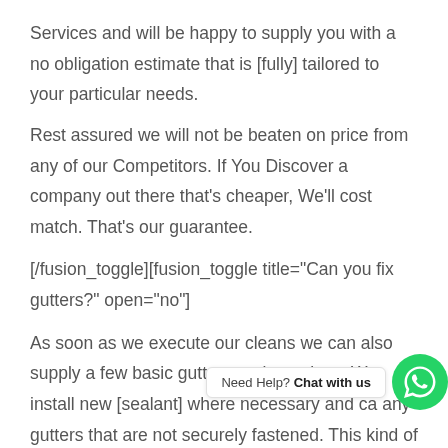Services and will be happy to supply you with a no obligation estimate that is [fully] tailored to your particular needs.
Rest assured we will not be beaten on price from any of our Competitors. If You Discover a company out there that's cheaper, We'll cost match. That's our guarantee.
[/fusion_toggle][fusion_toggle title="Can you fix gutters?" open="no"]
As soon as we execute our cleans we can also supply a few basic gutter repair services. We install new [sealant] where necessary and ca[...] any gutters that are not securely fastened. This kind of